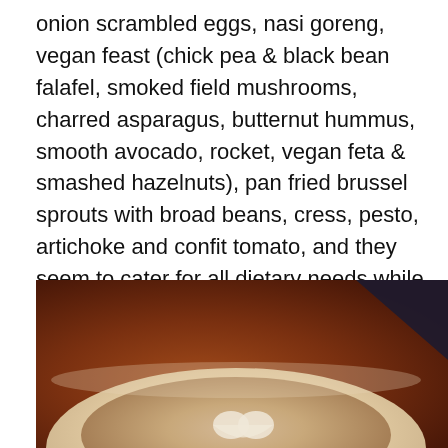onion scrambled eggs, nasi goreng, vegan feast (chick pea & black bean falafel, smoked field mushrooms, charred asparagus, butternut hummus, smooth avocado, rocket, vegan feta & smashed hazelnuts), pan fried brussel sprouts with broad beans, cress, pesto, artichoke and confit tomato, and they seem to cater for all dietary needs while still keeping the food interesting and appetising. My partner said that his coffee was in the top three that he has tasted in the world. High praise indeed considering that the number one coffee is in Chicago (Ipsento, in case you are interested on N Western Avenue).
[Figure (photo): A close-up photo of a latte coffee in a white cup on a brown wooden table, with latte art visible on the surface. The background shows a dark blue surface in the upper right corner.]